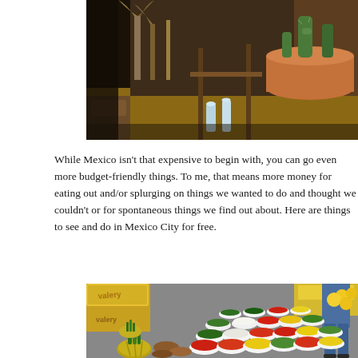[Figure (photo): Overhead market scene showing potted cacti and succulents in terracotta pots, with wooden crates and market stalls in background. Colorful outdoor plant market in Mexico City.]
While Mexico isn't that expensive to begin with, you can go even more budget-friendly things. To me, that means more money for eating out and/or splurging on things we wanted to do and thought we couldn't or for spontaneous things we find out about. Here are things to see and do in Mexico City for free.
[Figure (photo): Colorful outdoor market display with rows of white bowls filled with fresh produce — tomatoes, green peppers, limes, yellow squash, onions — alongside pineapples, sweet potatoes, mangoes. Wooden crates with Valery branding in background. A vendor in blue jeans stands near yellow citrus fruits.]